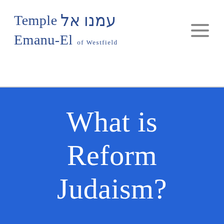Temple עמנו אל Emanu-El of Westfield
What is Reform Judaism?